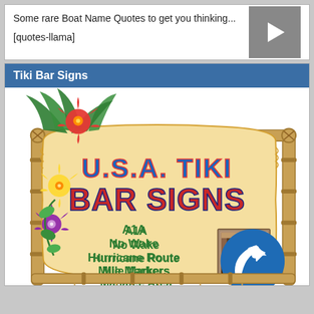Some rare Boat Name Quotes to get you thinking...
[quotes-llama]
[Figure (screenshot): Play button (grey triangle/arrow icon)]
Tiki Bar Signs
[Figure (illustration): U.S.A. Tiki Bar Signs advertisement image on a bamboo-framed wooden scroll sign with tropical hibiscus flowers. Text reads: U.S.A. TIKI BAR SIGNS, A1A, No Wake, Hurricane Route, Mile Markers, Manatee Area, CLICK HERE. Blue circular arrow icon in bottom right of the sign.]